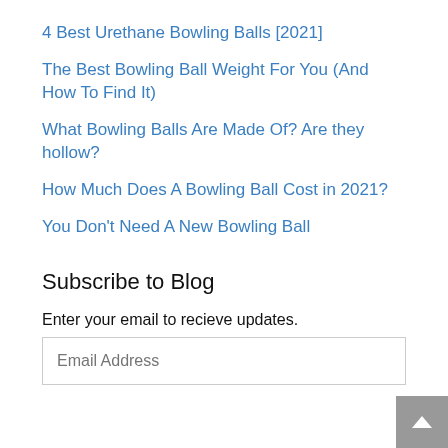4 Best Urethane Bowling Balls [2021]
The Best Bowling Ball Weight For You (And How To Find It)
What Bowling Balls Are Made Of? Are they hollow?
How Much Does A Bowling Ball Cost in 2021?
You Don't Need A New Bowling Ball
Subscribe to Blog
Enter your email to recieve updates.
Email Address